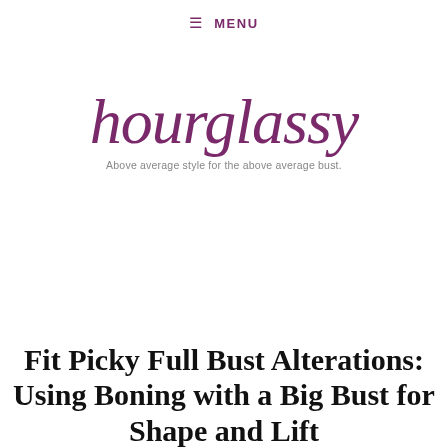≡ MENU
[Figure (logo): Hourglassy logo in purple cursive script with tagline 'Above average style for the above average bust.']
Fit Picky Full Bust Alterations: Using Boning with a Big Bust for Shape and Lift